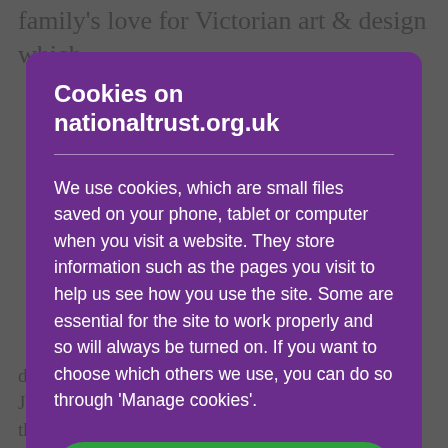family's love for Victorian art & design which
Cookies on nationaltrust.org.uk
We use cookies, which are small files saved on your phone, tablet or computer when you visit a website. They store information such as the pages you visit to help us see how you use the site. Some are essential for the site to work properly and so will always be turned on. If you want to choose which others we use, you can do so through 'Manage cookies'.
Accept all cookies
display for their visitors. The first was a portrait of Jane Morris by Rossetti and Madam Bower, which the Ma...